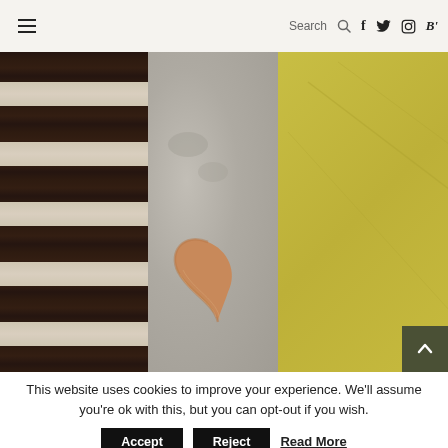≡  Search 🔍  f  t  Instagram  B'
[Figure (photo): Triptych collage: left panel shows dark brown and cream striped woven textile, middle panel shows gray concrete surface with a curled orange cat tail, right panel shows olive/yellow painted surface with faint diagonal lines]
This website uses cookies to improve your experience. We'll assume you're ok with this, but you can opt-out if you wish.
Accept  Reject  Read More